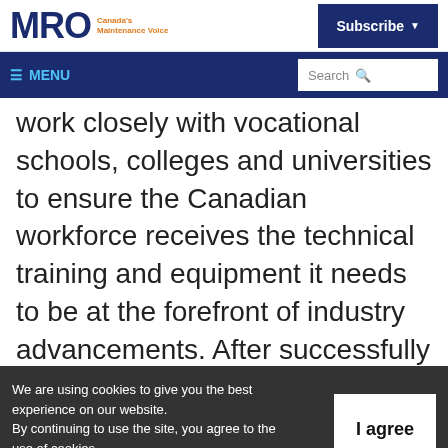MRO Canada's Maintenance Voice — Subscribe — MENU — Search
work closely with vocational schools, colleges and universities to ensure the Canadian workforce receives the technical training and equipment it needs to be at the forefront of industry advancements. After successfully providing educational training and industrial solutions in Québec for forty years, opening
We are using cookies to give you the best experience on our website.
By continuing to use the site, you agree to the use of cookies.
To find out more, read our privacy policy.